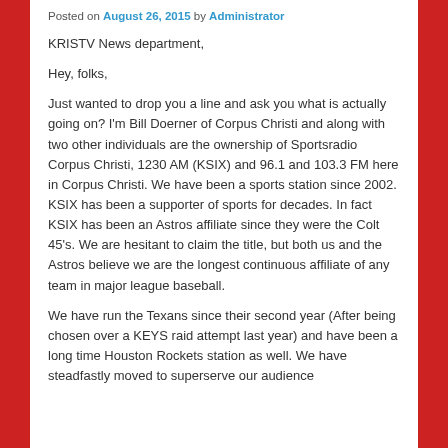Posted on August 26, 2015 by Administrator
KRISTV News department,
Hey, folks,
Just wanted to drop you a line and ask you what is actually going on?  I'm Bill Doerner of Corpus Christi and along with two other individuals are the ownership of Sportsradio Corpus Christi, 1230 AM (KSIX) and 96.1 and 103.3 FM here in Corpus Christi. We have been a sports station since 2002.  KSIX has been a supporter of sports for decades.  In fact KSIX has been an Astros affiliate since they were the Colt 45's.  We are hesitant to claim the title,  but both us and the Astros believe we are the longest continuous affiliate of any team in major league baseball.
We have run the Texans since their second year (After being chosen over a KEYS raid attempt last year) and have been a long time Houston Rockets station as well. We have steadfastly moved to superserve our audience